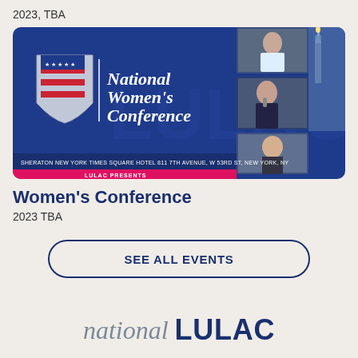2023, TBA
[Figure (illustration): LULAC National Women's Conference promotional banner. Blue background with LULAC shield logo on left, text 'National Women's Conference' in white italic font, photos of women on right side including Statue of Liberty. Bottom text reads 'SHERATON NEW YORK TIMES SQUARE HOTEL 811 7TH AVENUE, W 53RD ST, NEW YORK, NY' and 'LULAC PRESENTS' on pink bar.]
Women's Conference
2023 TBA
SEE ALL EVENTS
[Figure (logo): national LULAC logo — 'national' in italic gray serif font, 'LULAC' in bold dark navy sans-serif font]